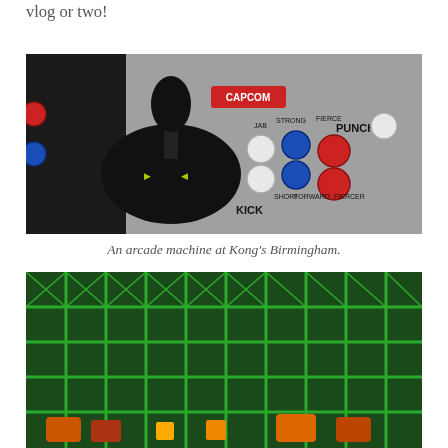vlog or two!
[Figure (photo): Close-up photograph of an arcade machine control panel at Kong's Birmingham, showing a black joystick, white and blue and red buttons labeled PUNCH and KICK, and a red Capcom logo sticker.]
An arcade machine at Kong's Birmingham.
[Figure (photo): Partial photograph of a colorful arcade game screen showing green fence-like grid graphics with orange and red game elements visible at the bottom.]